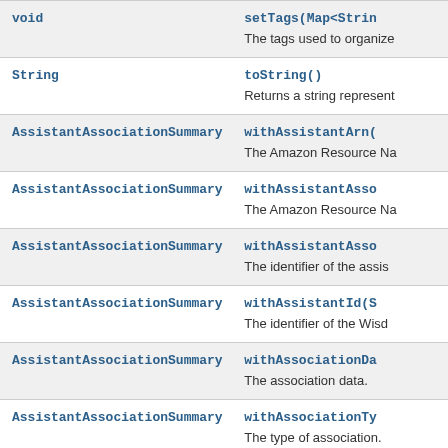| Type | Method and Description |
| --- | --- |
| void | setTags(Map<Strin...
The tags used to organize... |
| String | toString()
Returns a string represent... |
| AssistantAssociationSummary | withAssistantArn(...
The Amazon Resource Na... |
| AssistantAssociationSummary | withAssistantAsso...
The Amazon Resource Na... |
| AssistantAssociationSummary | withAssistantAsso...
The identifier of the assis... |
| AssistantAssociationSummary | withAssistantId(S...
The identifier of the Wisd... |
| AssistantAssociationSummary | withAssociationDa...
The association data. |
| AssistantAssociationSummary | withAssociationTy...
The type of association. |